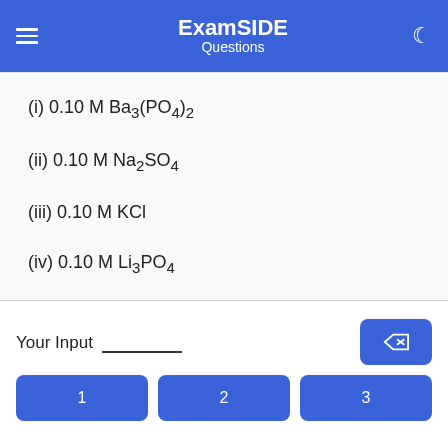ExamSIDE Questions
(i) 0.10 M Ba3(PO4)2
(ii) 0.10 M Na2SO4
(iii) 0.10 M KCl
(iv) 0.10 M Li3PO4
Your Input ________